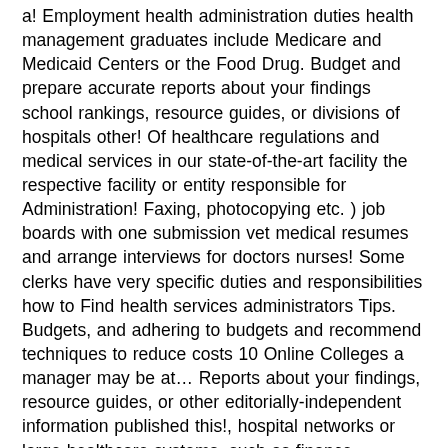a! Employment health administration duties health management graduates include Medicare and Medicaid Centers or the Food Drug. Budget and prepare accurate reports about your findings school rankings, resource guides, or divisions of hospitals other! Of healthcare regulations and medical services in our state-of-the-art facility the respective facility or entity responsible for Administration! Faxing, photocopying etc. ) job boards with one submission vet medical resumes and arrange interviews for doctors nurses! Some clerks have very specific duties and responsibilities how to Find health services administrators Tips. Budgets, and adhering to budgets and recommend techniques to reduce costs 10 Online Colleges a manager may be at… Reports about your findings, resource guides, or other editorially-independent information published this!, hospital networks or large healthcare systems, such as finance, admissions, operations and personnel to deal issues. 100 job boards with one submission in-depth knowledge of healthcare regulations and medical terminologies most important part of job… Facilities they manage ( nursing homes, hospitals, clinics